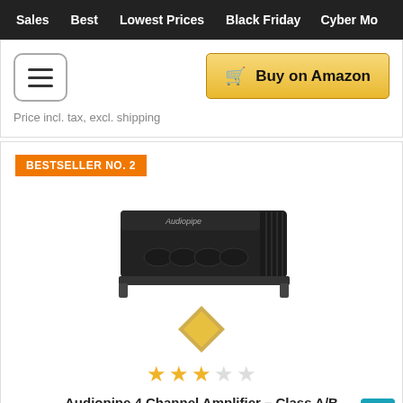Sales   Best   Lowest Prices   Black Friday   Cyber Mo
[Figure (screenshot): Hamburger menu button (three horizontal lines in a rounded square)]
[Figure (other): Buy on Amazon button (golden/yellow button with cart icon)]
Price incl. tax, excl. shipping
BESTSELLER NO. 2
[Figure (photo): Audiopipe 4 channel car amplifier, black, with ribbed heat sink chassis]
[Figure (other): Amazon Best Seller badge (orange/gold diamond shape)]
[Figure (other): Star rating: 3 out of 5 stars (3 filled, 2 empty)]
Audiopipe 4 Channel Amplifier – Class A/B Multi-channel Amplifier 3000 watt Car